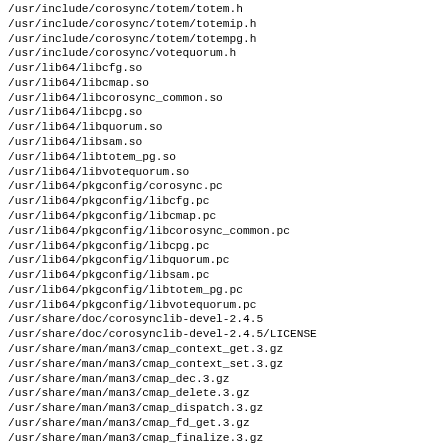/usr/include/corosync/totem/totem.h
/usr/include/corosync/totem/totemip.h
/usr/include/corosync/totem/totempg.h
/usr/include/corosync/votequorum.h
/usr/lib64/libcfg.so
/usr/lib64/libcmap.so
/usr/lib64/libcorosync_common.so
/usr/lib64/libcpg.so
/usr/lib64/libquorum.so
/usr/lib64/libsam.so
/usr/lib64/libtotem_pg.so
/usr/lib64/libvotequorum.so
/usr/lib64/pkgconfig/corosync.pc
/usr/lib64/pkgconfig/libcfg.pc
/usr/lib64/pkgconfig/libcmap.pc
/usr/lib64/pkgconfig/libcorosync_common.pc
/usr/lib64/pkgconfig/libcpg.pc
/usr/lib64/pkgconfig/libquorum.pc
/usr/lib64/pkgconfig/libsam.pc
/usr/lib64/pkgconfig/libtotem_pg.pc
/usr/lib64/pkgconfig/libvotequorum.pc
/usr/share/doc/corosynclib-devel-2.4.5
/usr/share/doc/corosynclib-devel-2.4.5/LICENSE
/usr/share/man/man3/cmap_context_get.3.gz
/usr/share/man/man3/cmap_context_set.3.gz
/usr/share/man/man3/cmap_dec.3.gz
/usr/share/man/man3/cmap_delete.3.gz
/usr/share/man/man3/cmap_dispatch.3.gz
/usr/share/man/man3/cmap_fd_get.3.gz
/usr/share/man/man3/cmap_finalize.3.gz